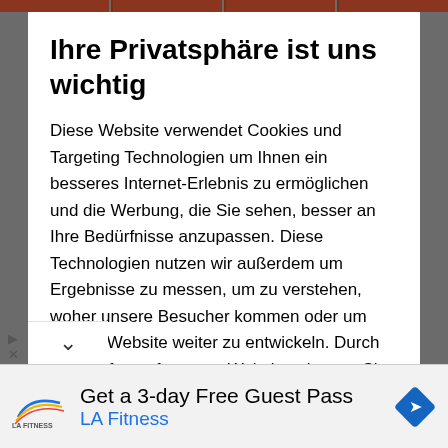Ihre Privatsphäre ist uns wichtig
Diese Website verwendet Cookies und Targeting Technologien um Ihnen ein besseres Internet-Erlebnis zu ermöglichen und die Werbung, die Sie sehen, besser an Ihre Bedürfnisse anzupassen. Diese Technologien nutzen wir außerdem um Ergebnisse zu messen, um zu verstehen, woher unsere Besucher kommen oder um unsere Website weiter zu entwickeln. Durch das Surfen auf unserer Website stimmen Sie der Verwendung von Cookies und anderen Tracking-Technologien
[Figure (infographic): LA Fitness advertisement banner: Get a 3-day Free Guest Pass with LA Fitness logo and navigation arrow icon]